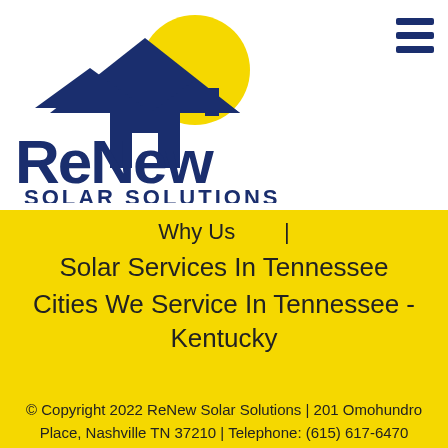[Figure (logo): ReNew Solar Solutions logo: dark navy blue house/mountain silhouette with yellow sun circle, bold 'ReNew' text in dark navy, 'SOLAR SOLUTIONS' text below in dark navy]
Why Us  |
Solar Services In Tennessee
Cities We Service In Tennessee - Kentucky
© Copyright 2022 ReNew Solar Solutions | 201 Omohundro Place, Nashville TN 37210 | Telephone: (615) 617-6470